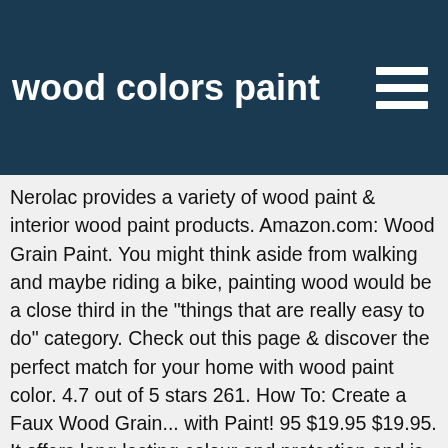wood colors paint
Nerolac provides a variety of wood paint & interior wood paint products. Amazon.com: Wood Grain Paint. You might think aside from walking and maybe riding a bike, painting wood would be a close third in the "things that are really easy to do" category. Check out this page & discover the perfect match for your home with wood paint color. 4.7 out of 5 stars 261. How To: Create a Faux Wood Grain... with Paint! 95 $19.95 $19.95. It offers long lasting colour and protection and is suitable for all garden wood. Rust-Oleum AC1213 301551 Universal All Surface Spray Paint 11 oz, Metallic Green Mist, Pearl Sea/Blue. How to Paint Wood. FREE Shipping on orders over $25 shipped by Amazon. $15.95 $ 15. $9.74 $ 9. Buy great products from our exterior wood paint Category online at Wickes.co.uk. Exterior Wood Paint Exterior